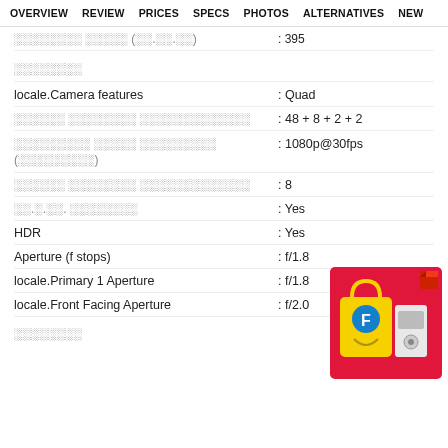OVERVIEW  REVIEW  PRICES  SPECS  PHOTOS  ALTERNATIVES  NEW
░░░░░░░░ ░░░░░ (░░.░░.░░) : 395
░░░░░░░░
locale.Camera features : Quad
░░░░░░ ░░░░░░░░ ░░░░░░░░░░░░░ : 48 + 8 + 2 + 2
░░░░░░░░░ ░░░░░ ░░░░░░░░░ (░░░░░░░░░) : 1080p@30fps
░░░░░░ ░░░░░░░░ ░░░░░░░░░░░░░ : 8
░░.░.░░. ░░░░░░░░ : Yes
HDR : Yes
Aperture (f stops) : f/1.8
locale.Primary 1 Aperture : f/1.8
locale.Front Facing Aperture : f/2.0
░░░░░░░░
[Figure (illustration): Flipkart shopping advertisement box with red background, yellow shopping bag with smiley face (Flipkart logo), kitchen appliances, and a red cube icon]